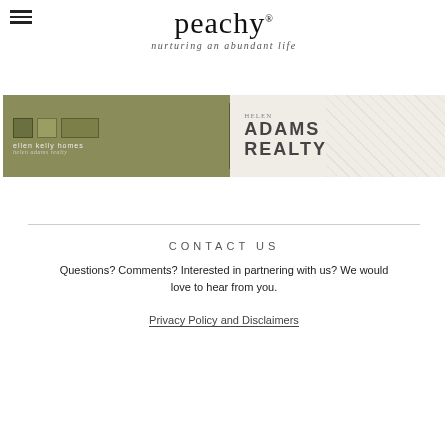peachy® — nurturing an abundant life
[Figure (logo): Ellen Kelly Homes / Helen Adams Realty advertisement banner with olive green left panel showing logo boxes and white right panel showing ADAMS REALTY text]
CONTACT US
Questions? Comments? Interested in partnering with us? We would love to hear from you.
Privacy Policy and Disclaimers